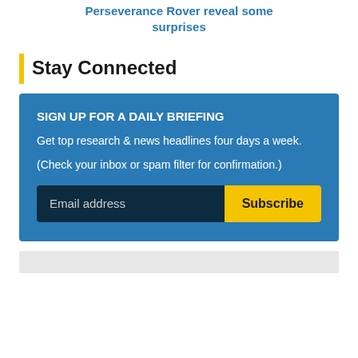Perseverance Rover reveal some surprises
Stay Connected
SIGN UP FOR A DAILY BRIEFING
Get top research & news headlines four days a week.
(Check your inbox or spam filter for confirmation.)